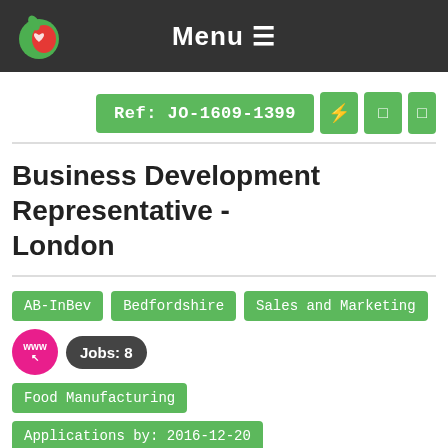Menu ≡
Ref: JO-1609-1399
Business Development Representative - London
AB-InBev
Bedfordshire
Sales and Marketing
Food Manufacturing
Applications by: 2016-12-20
[Figure (illustration): Eagle/phoenix logo illustration with spread wings, yellow and red coloring, partially visible at bottom of page]